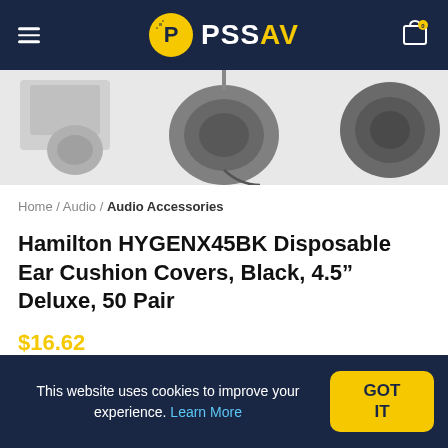PSSAV
[Figure (photo): Product image area showing headphones and ear cushion covers against a light background]
Home / Audio / Audio Accessories
Hamilton HYGENX45BK Disposable Ear Cushion Covers, Black, 4.5" Deluxe, 50 Pair
$16.62
HygenX Ear Cup Covers, Black – 4.5" Deluxe- Disposable Ear Cup Covers. 50 pairs
This website uses cookies to improve your experience. Learn More